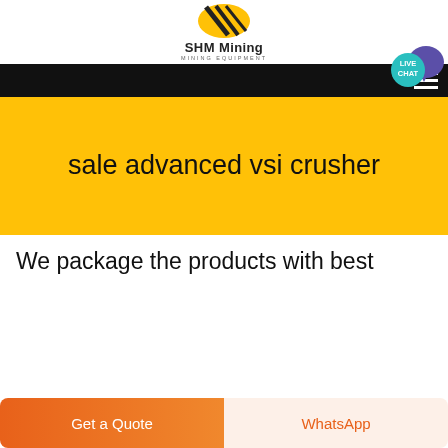[Figure (logo): SHM Mining logo with yellow and black diagonal stripe icon, company name SHM Mining in bold, subtitle MINING EQUIPMENT]
SHM Mining MINING EQUIPMENT
sale advanced vsi crusher
We package the products with best
Get a Quote
WhatsApp